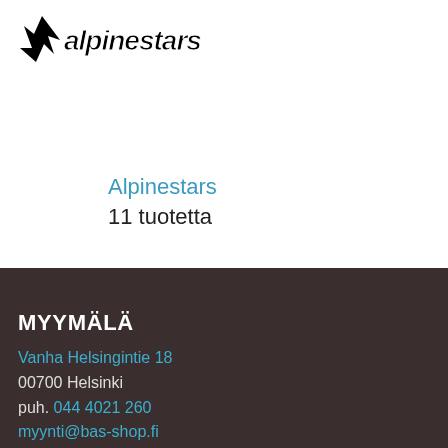[Figure (logo): Alpinestars brand logo with star symbol and stylized text in black and white]
Alpinestars
11 tuotetta
MYYMÄLÄ
Vanha Helsingintie 18
00700 Helsinki
puh. 044 4021 260
myynti@bas-shop.fi